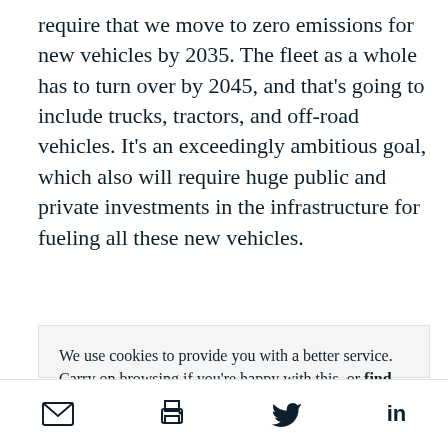require that we move to zero emissions for new vehicles by 2035. The fleet as a whole has to turn over by 2045, and that's going to include trucks, tractors, and off-road vehicles. It's an exceedingly ambitious goal, which also will require huge public and private investments in the infrastructure for fueling all these new vehicles.
We use cookies to provide you with a better service. Carry on browsing if you're happy with this, or find out more.
[Figure (infographic): Bottom toolbar with email, print, Twitter, and LinkedIn share icons]